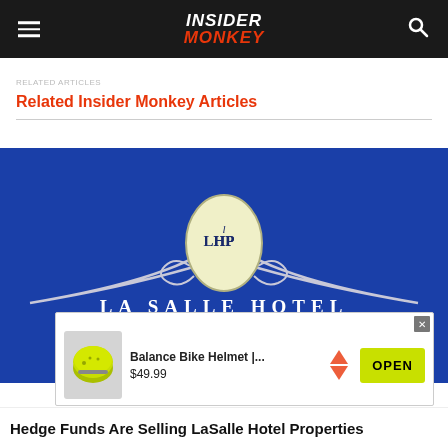Insider Monkey
Related Insider Monkey Articles
[Figure (logo): LaSalle Hotel Properties logo on blue background with LHP monogram in oval and decorative wings]
[Figure (screenshot): Advertisement overlay: Balance Bike Helmet | ... $49.99 with OPEN button]
Hedge Funds Are Selling LaSalle Hotel Properties